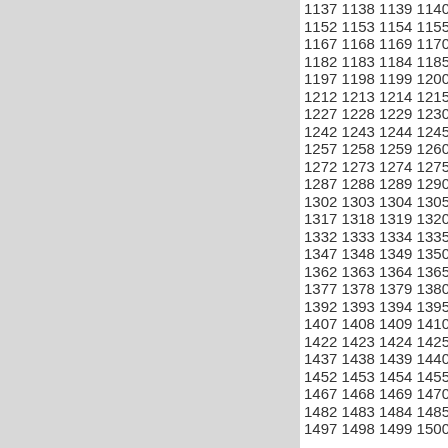1137 1138 1139 1140 1141 1142 1152 1153 1154 1155 1156 1157 1167 1168 1169 1170 1171 1172 1182 1183 1184 1185 1186 1187 1197 1198 1199 1200 1201 1202 1212 1213 1214 1215 1216 1217 1227 1228 1229 1230 1231 1232 1242 1243 1244 1245 1246 1247 1257 1258 1259 1260 1261 1262 1272 1273 1274 1275 1276 1277 1287 1288 1289 1290 1291 1292 1302 1303 1304 1305 1306 1307 1317 1318 1319 1320 1321 1322 1332 1333 1334 1335 1336 1337 1347 1348 1349 1350 1351 1352 1362 1363 1364 1365 1366 1367 1377 1378 1379 1380 1381 1382 1392 1393 1394 1395 1396 1397 1407 1408 1409 1410 1411 1412 1422 1423 1424 1425 1426 1427 1437 1438 1439 1440 1441 1442 1452 1453 1454 1455 1456 1457 1467 1468 1469 1470 1471 1472 1482 1483 1484 1485 1486 1487 1497 1498 1499 1500 1501 1502